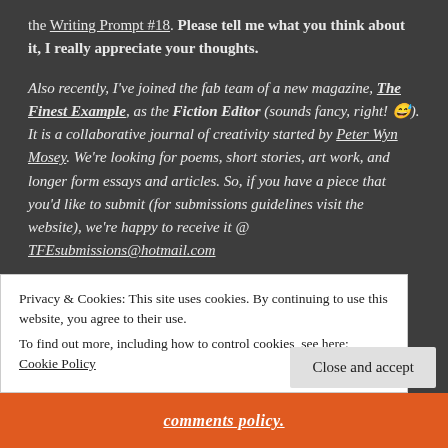the Writing Prompt #18. Please tell me what you think about it, I really appreciate your thoughts.
Also recently, I've joined the fab team of a new magazine, The Finest Example, as the Fiction Editor (sounds fancy, right! 😅). It is a collaborative journal of creativity started by Peter Wyn Mosey. We're looking for poems, short stories, art work, and longer form essays and articles. So, if you have a piece that you'd like to submit (for submissions guidelines visit the website), we're happy to receive it @ TFEsubmissions@hotmail.com
Privacy & Cookies: This site uses cookies. By continuing to use this website, you agree to their use.
To find out more, including how to control cookies, see here: Cookie Policy
Close and accept